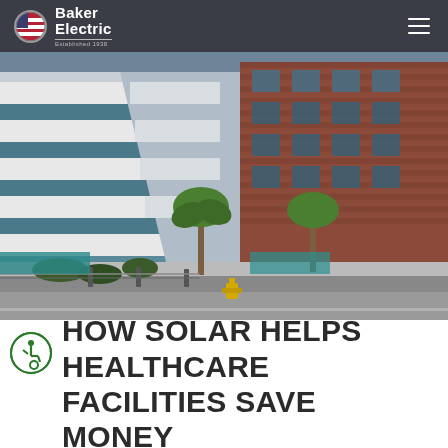Baker Electric
[Figure (photo): Exterior view of modern commercial/healthcare buildings — a glass-and-white-panel office building on the left and a brick building on the right, with palm trees in front and a street in the foreground.]
HOW SOLAR HELPS HEALTHCARE FACILITIES SAVE MONEY